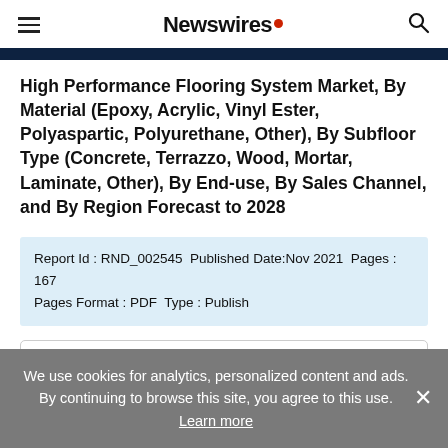Newswires
High Performance Flooring System Market, By Material (Epoxy, Acrylic, Vinyl Ester, Polyaspartic, Polyurethane, Other), By Subfloor Type (Concrete, Terrazzo, Wood, Mortar, Laminate, Other), By End-use, By Sales Channel, and By Region Forecast to 2028
Report Id : RND_002545  Published Date:Nov 2021  Pages : 167  Pages Format : PDF  Type : Publish
Report Description
We use cookies for analytics, personalized content and ads. By continuing to browse this site, you agree to this use. Learn more